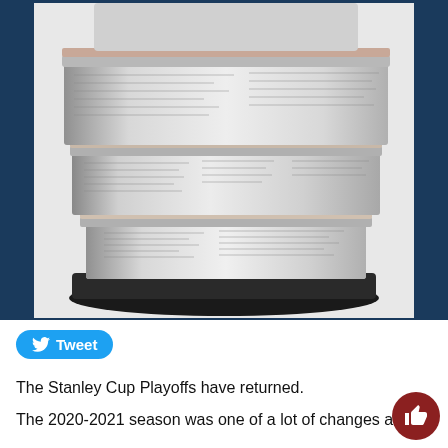[Figure (photo): Close-up photograph of the lower barrel/base section of the Stanley Cup trophy, showing engraved names of championship teams and players on silver metal bands, resting on a black circular base, photographed against a white background.]
[Figure (other): Twitter 'Tweet' button with bird logo, blue rounded rectangle]
The Stanley Cup Playoffs have returned.
The 2020-2021 season was one of a lot of changes an...